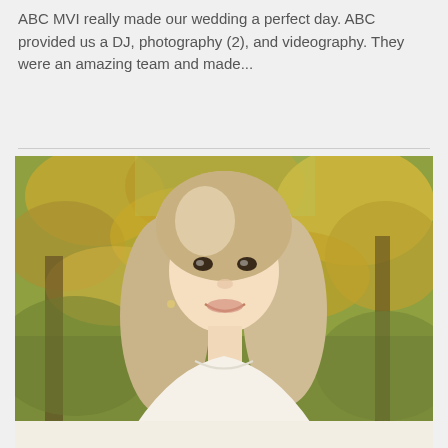ABC MVI really made our wedding a perfect day. ABC provided us a DJ, photography (2), and videography. They were an amazing team and made...
[Figure (photo): Portrait photo of a young blonde woman smiling, wearing a white top, with autumn yellow-green foliage in the background.]